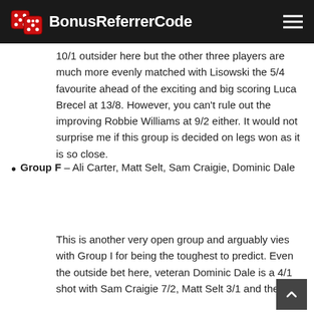BonusReferrerCode
10/1 outsider here but the other three players are much more evenly matched with Lisowski the 5/4 favourite ahead of the exciting and big scoring Luca Brecel at 13/8. However, you can't rule out the improving Robbie Williams at 9/2 either. It would not surprise me if this group is decided on legs won as it is so close.
Group F – Ali Carter, Matt Selt, Sam Craigie, Dominic Dale
This is another very open group and arguably vies with Group I for being the toughest to predict. Even the outside bet here, veteran Dominic Dale is a 4/1 shot with Sam Craigie 7/2, Matt Selt 3/1 and the favourite Ali Carter at 3/1. So there are...